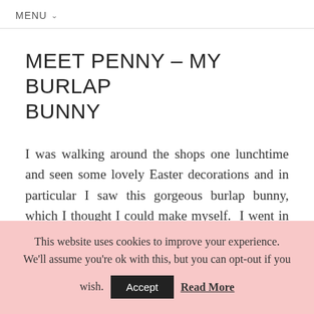MENU
MEET PENNY – MY BURLAP BUNNY
I was walking around the shops one lunchtime and seen some lovely Easter decorations and in particular I saw this gorgeous burlap bunny, which I thought I could make myself. I went in our local fabric shop to see if they had
This website uses cookies to improve your experience. We'll assume you're ok with this, but you can opt-out if you wish. Accept Read More